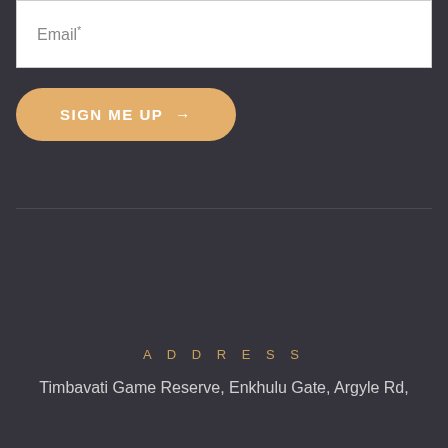Email*
SIGN ME UP →
ADDRESS
Timbavati Game Reserve, Enkhulu Gate, Argyle Rd,